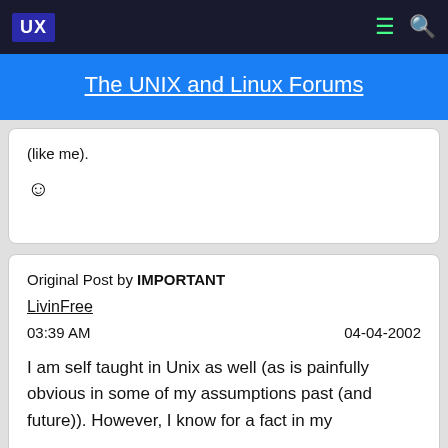UX — The UNIX and Linux Forums
The UNIX and Linux Forums
(like me).
[Figure (other): Smiley face emoji]
Original Post by IMPORTANT
LivinFree
03:39 AM    04-04-2002
I am self taught in Unix as well (as is painfully obvious in some of my assumptions past (and future)). However, I know for a fact in my